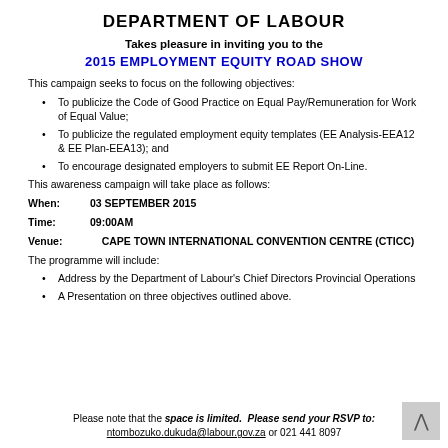DEPARTMENT OF LABOUR
Takes pleasure in inviting you to the
2015 EMPLOYMENT EQUITY ROAD SHOW
This campaign seeks to focus on the following objectives:
To publicize the Code of Good Practice on Equal Pay/Remuneration for Work of Equal Value;
To publicize the regulated employment equity templates (EE Analysis-EEA12 & EE Plan-EEA13); and
To encourage designated employers to submit EE Report On-Line.
This awareness campaign will take place as follows:
When: 03 SEPTEMBER 2015
Time: 09:00AM
Venue: CAPE TOWN INTERNATIONAL CONVENTION CENTRE (CTICC)
The programme will include:
Address by the Department of Labour's Chief Directors Provincial Operations
A Presentation on three objectives outlined above.
Please note that the space is limited. Please send your RSVP to: ntombozuko.dukuda@labour.gov.za or 021 441 8097